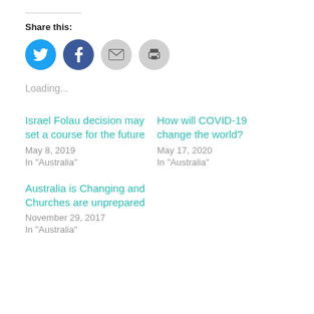Share this:
[Figure (infographic): Four circular social share buttons: Twitter (blue), Facebook (blue), Email (gray), Print (gray)]
Loading...
Israel Folau decision may set a course for the future
May 8, 2019
In "Australia"
How will COVID-19 change the world?
May 17, 2020
In "Australia"
Australia is Changing and Churches are unprepared
November 29, 2017
In "Australia"